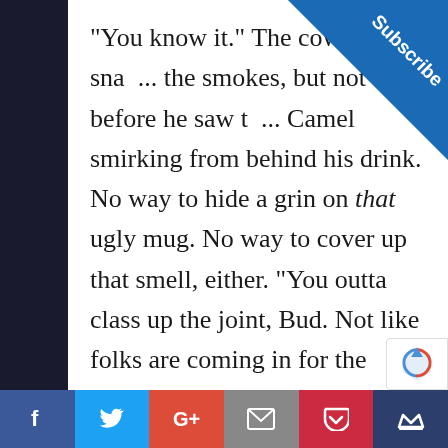"You know it." The cowboy snag... the smokes, but not before he saw th... Camel smirking from behind his drink. No way to hide a grin on that ugly mug. No way to cover up that smell, either. "You outta class up the joint, Bud. Not like folks are coming in for the booze."

"What you got against Joe?" Bud...
[Figure (other): Subscribe corner banner in blue triangle at top right]
[Figure (other): Social sharing bar at bottom: Facebook, Twitter, Google+, Email, Pocket, Crown]